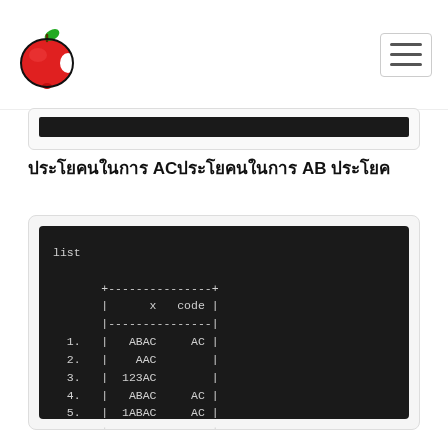[Apple logo] [Hamburger menu]
ประโยคในการ ACประโยคในการ AB ประโยค
[Figure (screenshot): Dark terminal/code block showing a database query result with columns x and code, listing 5 rows: 1. ABAC / AC, 2. AAC / (empty), 3. 123AC / (empty), 4. ABAC / AC, 5. 1ABAC / AC]